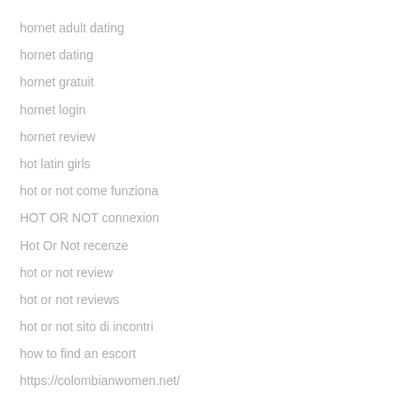hornet adult dating
hornet dating
hornet gratuit
hornet login
hornet review
hot latin girls
hot or not come funziona
HOT OR NOT connexion
Hot Or Not recenze
hot or not review
hot or not reviews
hot or not sito di incontri
how to find an escort
https://colombianwomen.net/